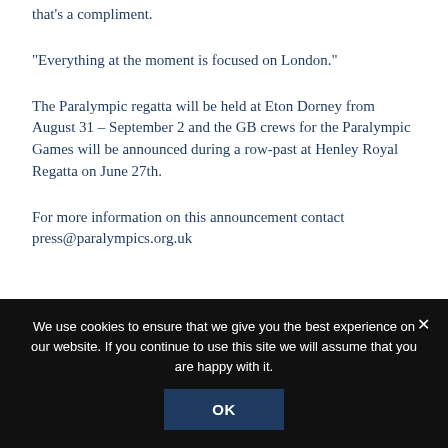that's a compliment.
“Everything at the moment is focused on London.”
The Paralympic regatta will be held at Eton Dorney from August 31 – September 2 and the GB crews for the Paralympic Games will be announced during a row-past at Henley Royal Regatta on June 27th.
For more information on this announcement contact press@paralympics.org.uk
We use cookies to ensure that we give you the best experience on our website. If you continue to use this site we will assume that you are happy with it. OK